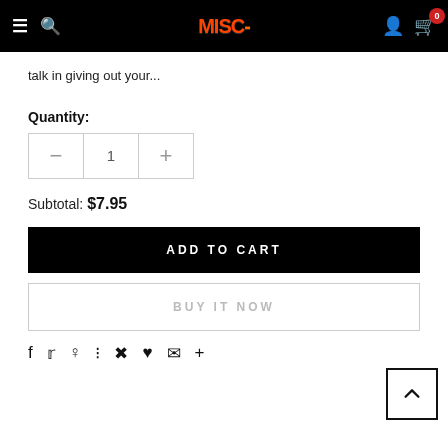MISC- navigation bar with hamburger, search, logo, user icon, cart (0)
talk in giving out your...
Quantity:
Subtotal: $7.95
ADD TO CART
BUY IT NOW
Social share icons: Facebook, Twitter, Pinterest, Grid, Bookmark, Heart, Email, Plus